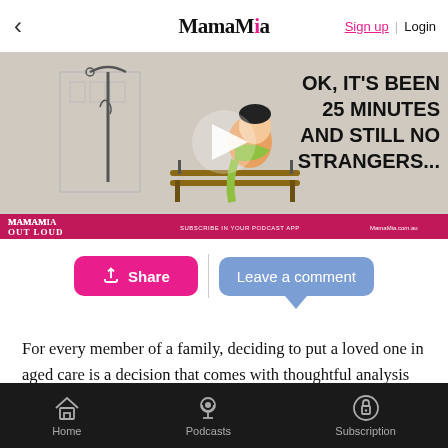< MamaMia  Sign up | Login
[Figure (screenshot): Video thumbnail showing animated illustration of a woman sitting on a park bench with text overlay: 'OK, IT'S BEEN 25 MINUTES AND STILL NO STRANGERS...' with Mamamia Out Loud podcast branding and play button]
[Figure (other): Two action buttons: pink Share button and blue Leave a comment button]
For every member of a family, deciding to put a loved one in aged care is a decision that comes with thoughtful analysis and it's own very particular emotional toll.
Home  Podcasts  Subscription